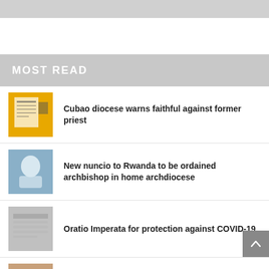MOST READ
Cubao diocese warns faithful against former priest
New nuncio to Rwanda to be ordained archbishop in home archdiocese
Oratio Imperata for protection against COVID-19
Dominican priest killed in Vietnam
Vatican opens its first embassy in Abu